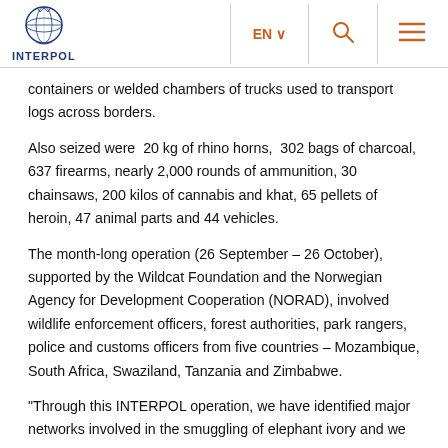INTERPOL
containers or welded chambers of trucks used to transport logs across borders.
Also seized were 20 kg of rhino horns, 302 bags of charcoal, 637 firearms, nearly 2,000 rounds of ammunition, 30 chainsaws, 200 kilos of cannabis and khat, 65 pellets of heroin, 47 animal parts and 44 vehicles.
The month-long operation (26 September – 26 October), supported by the Wildcat Foundation and the Norwegian Agency for Development Cooperation (NORAD), involved wildlife enforcement officers, forest authorities, park rangers, police and customs officers from five countries – Mozambique, South Africa, Swaziland, Tanzania and Zimbabwe.
"Through this INTERPOL operation, we have identified major networks involved in the smuggling of elephant ivory and we